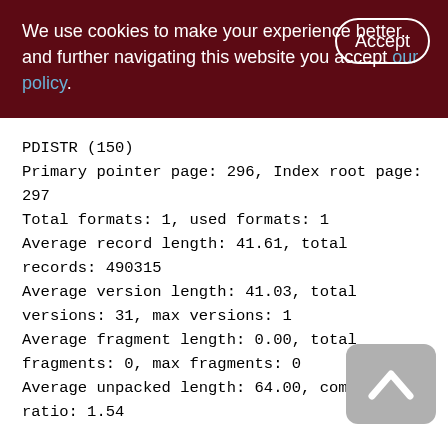We use cookies to make your experience better. By accepting and further navigating this website you accept our policy.
PDISTR (150)
Primary pointer page: 296, Index root page: 297
Total formats: 1, used formats: 1
Average record length: 41.61, total records: 490315
Average version length: 41.03, total versions: 31, max versions: 1
Average fragment length: 0.00, total fragments: 0, max fragments: 0
Average unpacked length: 64.00, compression ratio: 1.54